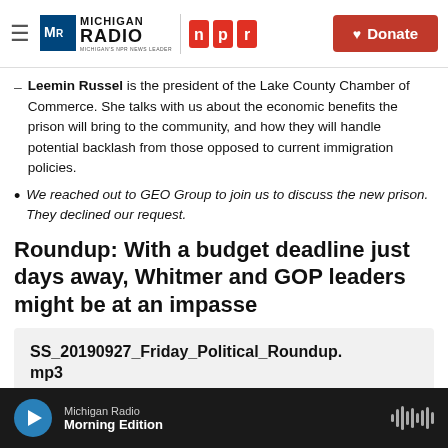Michigan Radio | NPR | Donate
Leemin Russel is the president of the Lake County Chamber of Commerce. She talks with us about the economic benefits the prison will bring to the community, and how they will handle potential backlash from those opposed to current immigration policies.
We reached out to GEO Group to join us to discuss the new prison. They declined our request.
Roundup: With a budget deadline just days away, Whitmer and GOP leaders might be at an impasse
[Figure (other): Audio player card with filename SS_20190927_Friday_Political_Roundup.mp3 and text 'Stateside's conversation with T.J. Bucholz and...']
Michigan Radio | Morning Edition (audio player bar)